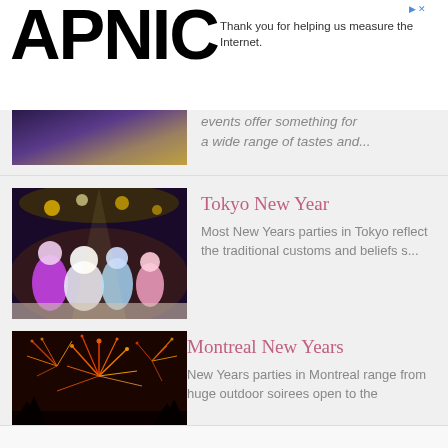[Figure (logo): APNIC logo in bold black text]
Thank you for helping us measure the Internet.
events offer something for a wide range of tastes and...
[Figure (photo): Tokyo New Year performance with costumed characters on stage under colorful lights]
Tokyo New Year
Most New Years parties in Tokyo reflect the traditional customs and beliefs s...
[Figure (photo): Montreal fireworks display with red and white fireworks over silhouetted crowd]
Montreal New Years
New Years parties in Montreal range from huge outdoor soirees open to the gen...